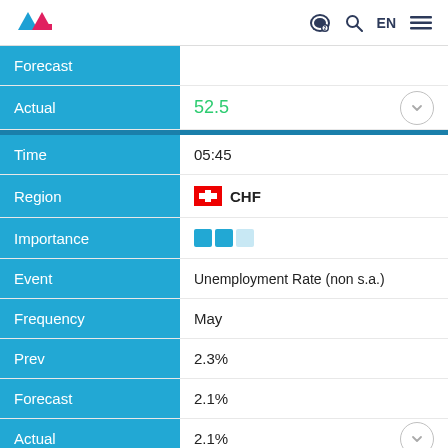TradingView header with logo and navigation icons
| Label | Value |
| --- | --- |
| Forecast |  |
| Actual | 52.5 |
| Time | 05:45 |
| Region | CHF |
| Importance | 2/3 |
| Event | Unemployment Rate (non s.a.) |
| Frequency | May |
| Prev | 2.3% |
| Forecast | 2.1% |
| Actual | 2.1% |
| Time | 06:00 |
| Region | GBP |